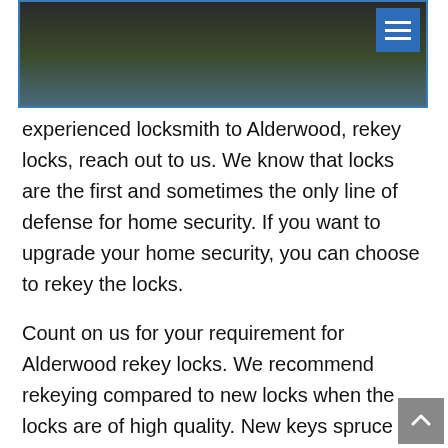[Figure (photo): Partial view of a locksmith-related photo with a menu button overlay in the top right corner]
experienced locksmith to Alderwood, rekey locks, reach out to us. We know that locks are the first and sometimes the only line of defense for home security. If you want to upgrade your home security, you can choose to rekey the locks.
Count on us for your requirement for Alderwood rekey locks. We recommend rekeying compared to new locks when the locks are of high quality. New keys spruce up the security.
Call us when you require experts for Alderwood rekey locks for the following:
Rekey sliding door lock